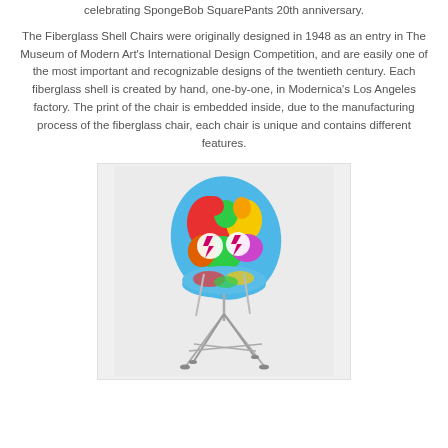celebrating SpongeBob SquarePants 20th anniversary.
The Fiberglass Shell Chairs were originally designed in 1948 as an entry in The Museum of Modern Art's International Design Competition, and are easily one of the most important and recognizable designs of the twentieth century. Each fiberglass shell is created by hand, one-by-one, in Modernica's Los Angeles factory. The print of the chair is embedded inside, due to the manufacturing process of the fiberglass chair, each chair is unique and contains different features.
[Figure (photo): A colorful fiberglass shell chair with a SpongeBob SquarePants themed print featuring bold colors (red, blue, green, yellow) and lightning bolt motifs, mounted on a wire/metal rod base.]